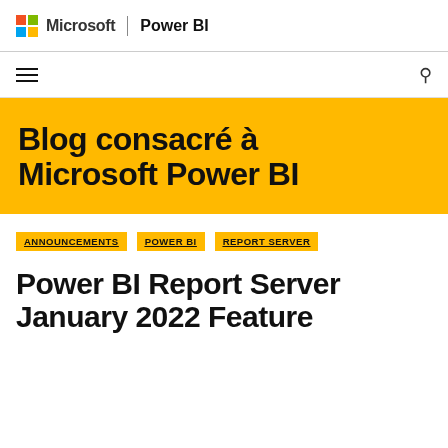Microsoft | Power BI
[Figure (logo): Microsoft logo with four colored squares and text 'Microsoft | Power BI']
Blog consacré à Microsoft Power BI
ANNOUNCEMENTS   POWER BI   REPORT SERVER
Power BI Report Server January 2022 Feature